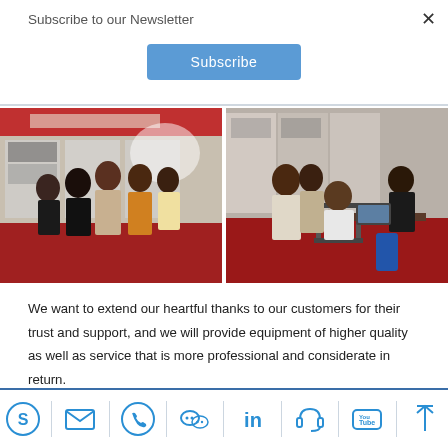Subscribe to our Newsletter
[Figure (screenshot): Blue Subscribe button]
[Figure (photo): Two side-by-side photos from a trade show/exhibition. Left: group of people posing in front of a booth with company signage. Right: people gathered around a table examining equipment at a booth.]
We want to extend our heartful thanks to our customers for their trust and support, and we will provide equipment of higher quality as well as service that is more professional and considerate in return.
[Figure (infographic): Footer icon bar with social/contact icons: Skype, email, phone, WeChat, LinkedIn, headset/support, YouTube, and scroll-to-top arrow.]